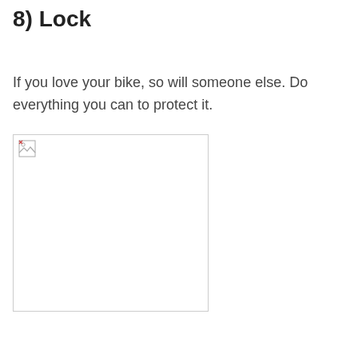8) Lock
If you love your bike, so will someone else. Do everything you can to protect it.
[Figure (photo): Broken/missing image placeholder showing a bicycle lock photo that failed to load]